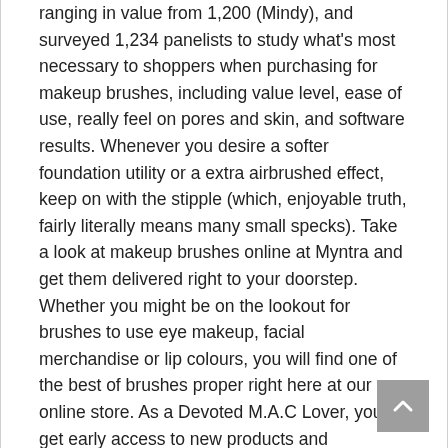ranging in value from 1,200 (Mindy), and surveyed 1,234 panelists to study what's most necessary to shoppers when purchasing for makeup brushes, including value level, ease of use, really feel on pores and skin, and software results. Whenever you desire a softer foundation utility or a extra airbrushed effect, keep on with the stipple (which, enjoyable truth, fairly literally means many small specks). Take a look at makeup brushes online at Myntra and get them delivered right to your doorstep. Whether you might be on the lookout for brushes to use eye makeup, facial merchandise or lip colours, you will find one of the best of brushes proper right here at our online store. As a Devoted M.A.C Lover, you get early access to new products and collections, a free 30-min make-up service and a particular birthday gift. In the video you're going to get to find out about the best strategy to apply cosmetics like primers, concealers, basis, powder, blusher, lipsticks, gel eyeliner and eventually a mascara. While some individuals want synthetic bristles (which are